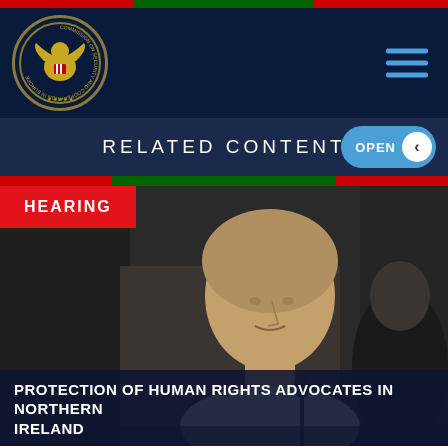Commission on Security and Cooperation in Europe (CSCE) — site header with logo and navigation
RELATED CONTENT
OPEN
[Figure (photo): A woman with short blonde/gray hair sitting at what appears to be a hearing table, seen in profile view, with a man in a dark suit visible behind her. The photo is taken in a formal hearing room setting.]
HEARING
PROTECTION OF HUMAN RIGHTS ADVOCATES IN NORTHERN IRELAND